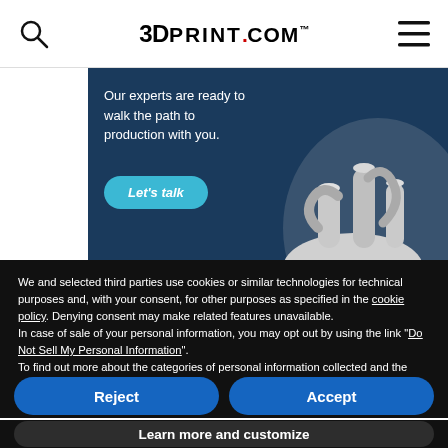3DPRINT.COM™
[Figure (photo): Advertisement banner with dark blue background showing 3D printed mechanical parts on the right side and text 'Our experts are ready to walk the path to production with you.' with a 'Let's talk' button on the left.]
We and selected third parties use cookies or similar technologies for technical purposes and, with your consent, for other purposes as specified in the cookie policy. Denying consent may make related features unavailable.
In case of sale of your personal information, you may opt out by using the link "Do Not Sell My Personal Information".
To find out more about the categories of personal information collected and the purposes for which such information will be used, please refer to our privacy policy. You can consent to the use of such technologies by using the "Accept" button, by scrolling this page, by interacting with any link or button outside of this notice or by continuing to browse otherwise.
Reject
Accept
Learn more and customize